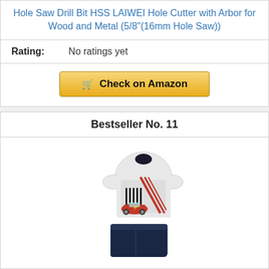Hole Saw Drill Bit HSS LAIWEI Hole Cutter with Arbor for Wood and Metal (5/8"(16mm Hole Saw))
Rating: No ratings yet
Check on Amazon
Bestseller No. 11
[Figure (photo): Children's clothing set consisting of a white short-sleeve t-shirt with Disney Cars Lightning McQueen graphic print and dark navy blue shorts]